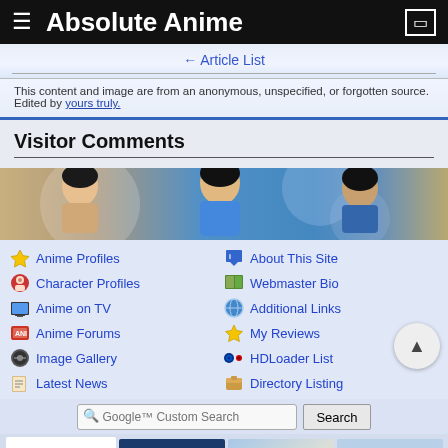Absolute Anime
← Article List
This content and image are from an anonymous, unspecified, or forgotten source. Edited by yours truly.
Visitor Comments
[Figure (illustration): Anime-style illustrated banner showing stylized characters]
Anime Profiles
Character Profiles
Anime on TV
Anime Forums
Image Gallery
Latest News
About This Site
Webmaster Bio
Additional Links
My Reviews
HDLoader List
Directory Listing
[Figure (other): Google Custom Search bar with Search button]
[Figure (other): Advertisement banners: Amazon Anime, RightStuf online store, Anime Galleries, Anime Lyrics, TokyoPop]